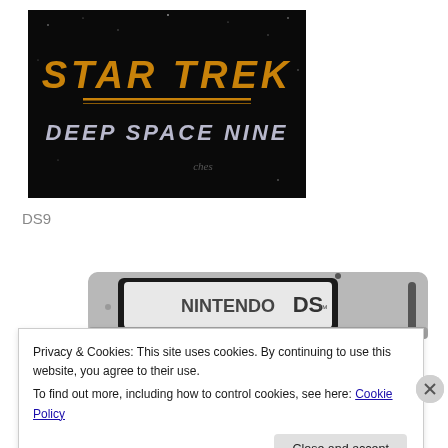[Figure (photo): Star Trek Deep Space Nine logo on black background with orange and silver metallic text and a horizontal gold line separator, with a small signature below]
DS9
[Figure (photo): Nintendo DS handheld gaming console, silver/grey color, showing the dual screens, partially cropped]
Privacy & Cookies: This site uses cookies. By continuing to use this website, you agree to their use.
To find out more, including how to control cookies, see here: Cookie Policy